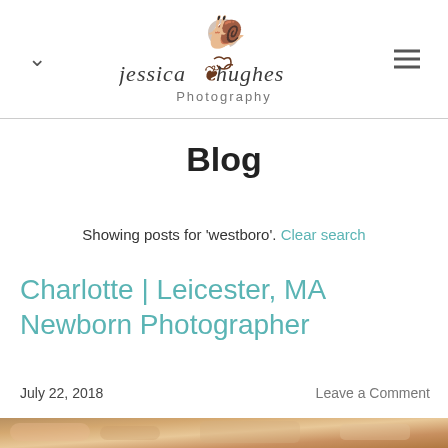jessica hughes Photography
Blog
Showing posts for 'westboro'. Clear search
Charlotte | Leicester, MA Newborn Photographer
July 22, 2018    Leave a Comment
[Figure (photo): Partial view of a newborn baby wearing a pink knit hat, lying on a warm textured surface]